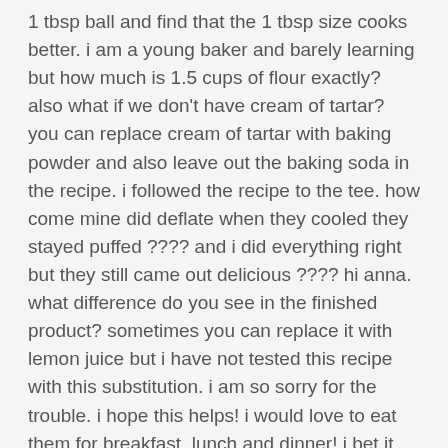1 tbsp ball and find that the 1 tbsp size cooks better. i am a young baker and barely learning but how much is 1.5 cups of flour exactly? also what if we don't have cream of tartar? you can replace cream of tartar with baking powder and also leave out the baking soda in the recipe. i followed the recipe to the tee. how come mine did deflate when they cooled they stayed puffed ???? and i did everything right but they still came out delicious ???? hi anna. what difference do you see in the finished product? sometimes you can replace it with lemon juice but i have not tested this recipe with this substitution. i am so sorry for the trouble. i hope this helps! i would love to eat them for breakfast, lunch and dinner! i bet it makes them extra chewy and yummy. here you will find easy and delicious recipes for busy people.
in a medium size bowl, cream together the softened butter, 1/4 cup granulated sugar, and 1/4 cup brown sugar until well combined. combine the wet and dry